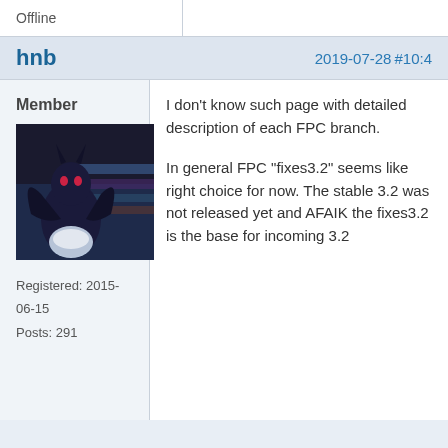Offline
hnb
2019-07-28 #10:4
Member
[Figure (photo): Avatar image of a dark fantasy/gaming character (appears to be a dark winged creature) against a colorful background]
Registered: 2015-06-15
Posts: 291
I don't know such page with detailed description of each FPC branch.

In general FPC "fixes3.2" seems like right choice for now. The stable 3.2 was not released yet and AFAIK the fixes3.2 is the base for incoming 3.2